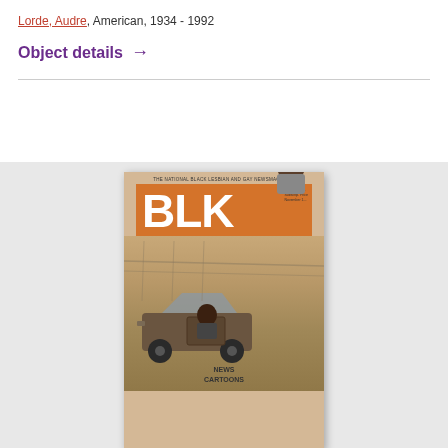Lorde, Audre, American, 1934 - 1992
Object details →
[Figure (photo): Cover of BLK magazine, 'The National Black Lesbian and Gay Newsmagazine', showing two people in or near a vehicle, with large orange BLK logo. Bottom text reads NEWS CARTOONS.]